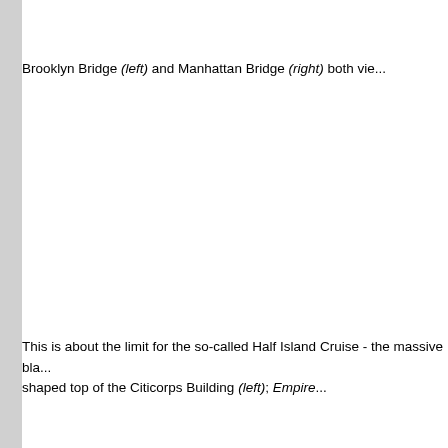Brooklyn Bridge (left) and Manhattan Bridge (right) both vie...
[Figure (photo): Large photograph of Brooklyn Bridge and Manhattan Bridge, mostly white/blank area in the center of the page]
This is about the limit for the so-called Half Island Cruise - the massive bla... shaped top of the Citicorps Building (left); Empire...